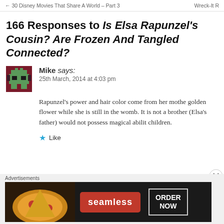← 30 Disney Movies That Share A World – Part 3    Wreck-It R
166 Responses to Is Elsa Rapunzel's Cousin? Are Frozen And Tangled Connected?
Mike says: 25th March, 2014 at 4:03 pm
Rapunzel's power and hair color come from her mother drinking the golden flower while she is still in the womb. It is not a brother (Elsa's father) would not possess magical abilities in his children.
Like
[Figure (screenshot): Seamless food delivery advertisement banner with pizza image, seamless logo in red, and ORDER NOW button]
Advertisements